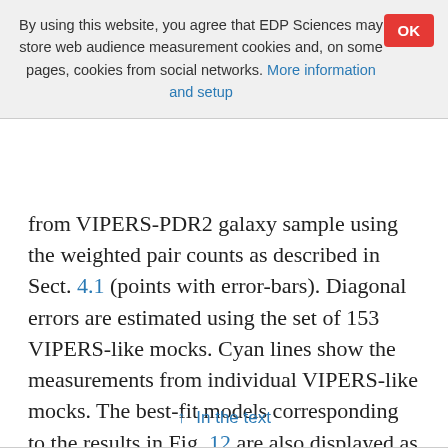By using this website, you agree that EDP Sciences may store web audience measurement cookies and, on some pages, cookies from social networks. More information and setup
from VIPERS-PDR2 galaxy sample using the weighted pair counts as described in Sect. 4.1 (points with error-bars). Diagonal errors are estimated using the set of 153 VIPERS-like mocks. Cyan lines show the measurements from individual VIPERS-like mocks. The best-fit models corresponding to the results in Fig. 12 are also displayed as solid blue and dashed red lines. Top and bottom panels show results from the low- and high-redshift bins, respectively.
↑ In the text